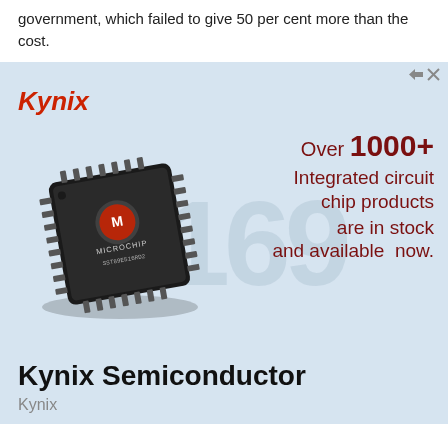government, which failed to give 50 per cent more than the cost.
[Figure (infographic): Kynix semiconductor advertisement banner with a Microchip brand IC chip image, red italic Kynix logo, dark red promotional text 'Over 1000+ Integrated circuit chip products are in stock and available now.', and background watermark digits. Bottom shows 'Kynix Semiconductor' in bold and 'Kynix' in gray.]